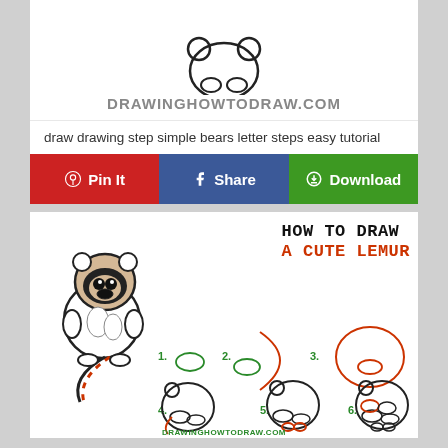[Figure (screenshot): Top portion showing a cute lemur drawing preview and the DRAWINGHOWTODRAW.COM website logo/header]
draw drawing step simple bears letter steps easy tutorial
[Figure (infographic): Three social buttons: red Pin It button with Pinterest icon, blue Share button with Facebook icon, green Download button with download icon]
[Figure (illustration): How To Draw A Cute Lemur step-by-step tutorial image showing a completed cute lemur cartoon on the left and 6 drawing steps with numbered stages showing oval shapes progressing to a full lemur body, with DRAWINGHOWTODRAW.COM watermark at bottom]